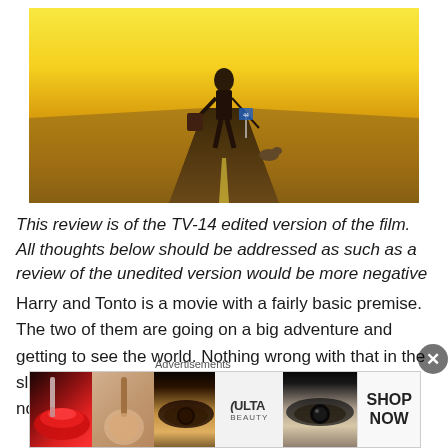[Figure (photo): Person walking on a desert highway road carrying luggage and walking a small dog on a leash, warm golden/yellow toned sky]
This review is of the TV-14 edited version of the film. All thoughts below should be addressed as such as a review of the unedited version would be more negative
Harry and Tonto is a movie with a fairly basic premise. The two of them are going on a big adventure and getting to see the world. Nothing wrong with that in the slightest of course but I would say the execution was not very good at
Advertisements
[Figure (photo): Ulta Beauty advertisement banner showing makeup products and models with eyes and lips, with SHOP NOW call to action]